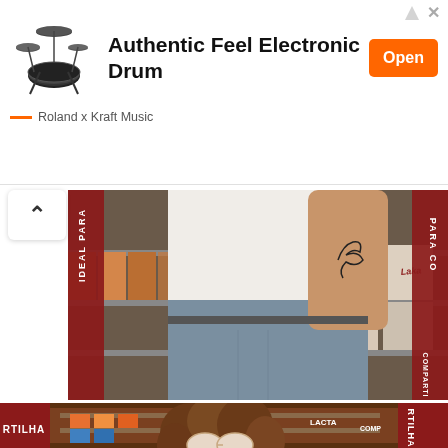[Figure (screenshot): Advertisement banner for Roland electronic drum kit. Shows a drum kit icon on the left, text 'Authentic Feel Electronic Drum' in bold, an orange 'Open' button, and 'Roland x Kraft Music' brand attribution below.]
[Figure (photo): Photo 1: Cropped shot of a person wearing a white t-shirt and denim shorts, with a tattoo on their arm. They are standing in front of store shelves stocked with packaged products branded 'Laka'. Red vertical banners on the sides read 'IDEAL PARA' and 'PARA CO' (COMPARTILHA).]
[Figure (photo): Photo 2: Young woman with curly hair wearing pink cat-eye sunglasses, standing in front of colorful store shelves. Red banners on sides read 'RTILHA' and partial text. Brands visible include 'LACTA' and 'COMP'.]